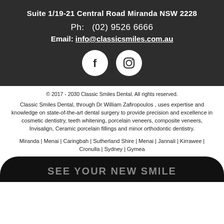Suite 1/19-21 Central Road Miranda NSW 2228
Ph:   (02) 9526 6666
Email: info@classicsmiles.com.au
[Figure (illustration): Facebook and Instagram social media icons in white circles on dark background]
© 2017 - 2030 Classic Smiles Dental. All rights reserved.
Classic Smiles Dental, through Dr William Zafiropoulos , uses expertise and knowledge on state-of-the-art dental surgery to provide precision and excellence in cosmetic dentistry, teeth whitening, porcelain veneers, composite veneers, Invisalign, Ceramic porcelain fillings and minor orthodontic dentistry.
Miranda | Menai | Caringbah | Sutherland Shire | Menai | Jannali | Kirrawee | Cronulla | Sydney | Gymea
SEE YOUR NEW SMILE